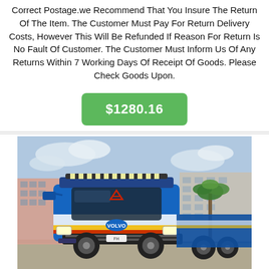Correct Postage.we Recommend That You Insure The Return Of The Item. The Customer Must Pay For Return Delivery Costs, However This Will Be Refunded If Reason For Return Is No Fault Of Customer. The Customer Must Inform Us Of Any Returns Within 7 Working Days Of Receipt Of Goods. Please Check Goods Upon.
$1280.16
[Figure (photo): A blue Volvo semi-truck/lorry photographed from the front-left angle, parked on a road with buildings and a palm tree in the background under a partly cloudy sky.]